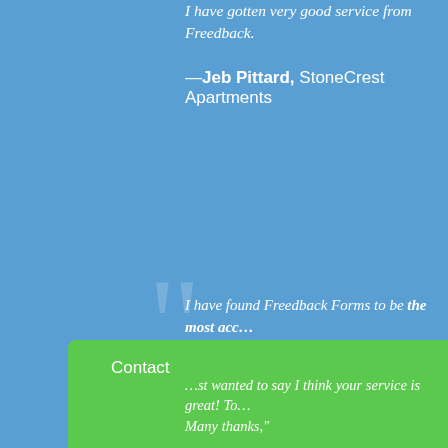I have gotten very good service from Freedback.
—Jeb Pittard, StoneCrest Apartments
I have found Freedback Forms to be the most accurate tool available to communicate with website visitors. It can be configured to draw customers, gather information, and more. A highly useful tool for any site. I would definitely recommend it to anyone concerned.

Thanks!!"
—Tom Black, The Atlas Organization
Contact
...just wanted to say I think your service is great! To... Many thanks,"